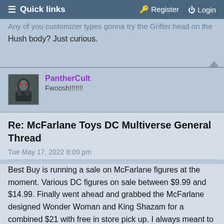☰ Quick links    🔑 Register  ⏻ Login
Any of you customizer types gonna try the Grifter head on the Hush body? Just curious.
PantherCult
Fwoosh!!!!!!!!
Re: McFarlane Toys DC Multiverse General Thread
Tue May 17, 2022 8:09 pm
Best Buy is running a sale on McFarlane figures at the moment. Various DC figures on sale between $9.99 and $14.99. Finally went ahead and grabbed the McFarlane designed Wonder Woman and King Shazam for a combined $21 with free in store pick up. I always meant to get that Wonder Woman and hadn't, and had talked myself out of